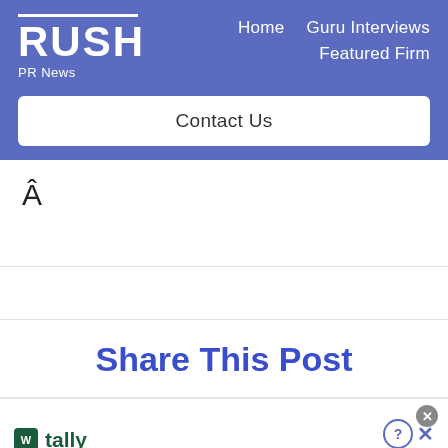RUSH PR News — Home  Guru Interviews  Featured Firm
Contact Us
Â
Share This Post
[Figure (screenshot): Tally app advertisement banner: tally logo, text 'Fast credit card payoff', Download Now button with arrow, close and help icons]